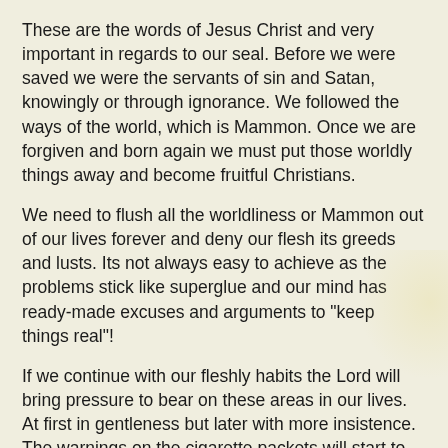These are the words of Jesus Christ and very important in regards to our seal. Before we were saved we were the servants of sin and Satan, knowingly or through ignorance. We followed the ways of the world, which is Mammon. Once we are forgiven and born again we must put those worldly things away and become fruitful Christians.
We need to flush all the worldliness or Mammon out of our lives forever and deny our flesh its greeds and lusts. Its not always easy to achieve as the problems stick like superglue and our mind has ready-made excuses and arguments to "keep things real"!
If we continue with our fleshly habits the Lord will bring pressure to bear on these areas in our lives.  At first in gentleness but later with more insistence. The warnings on the cigarette packets will start to become a reality. The morning cough will really bother the smoker.
We need to realise that when Adam fell, everything fell! Some plants, animals, reptiles, insects became toxic to man! ...